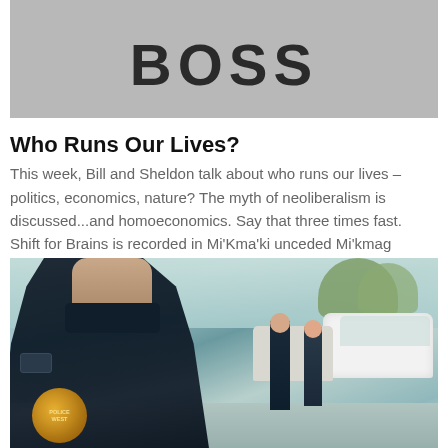[Figure (photo): Grayscale image showing a gray surface with bold text 'BOSS' in large dark letters, partially cropped at top]
Who Runs Our Lives?
This week, Bill and Sheldon talk about who runs our lives – politics, economics, nature? The myth of neoliberalism is discussed...and homoeconomics. Say that three times fast.  Shift for Brains is recorded in Mi'Kma'ki unceded Mi'kmag territory. A...
[Figure (photo): Photo of a police officer in dark uniform with badge visible in the foreground, with other officers and white vehicles in the background on a street scene]